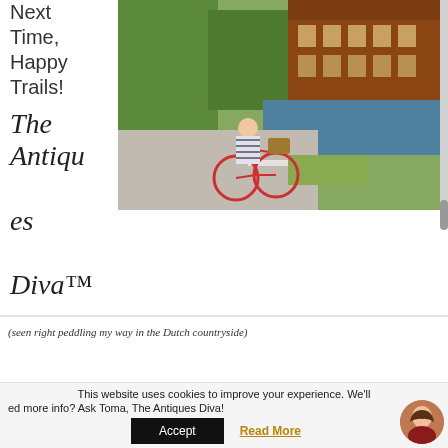Next Time, Happy Trails!
[Figure (photo): A woman in a striped dress riding a red bicycle with a wicker basket along a canal path in the Dutch countryside, with a brick building visible in the background.]
The Antiques Diva™
(seen right peddling my way in the Dutch countryside)
This website uses cookies to improve your experience. We'll
ed more info? Ask Toma, The Antiques Diva!    yc    h.